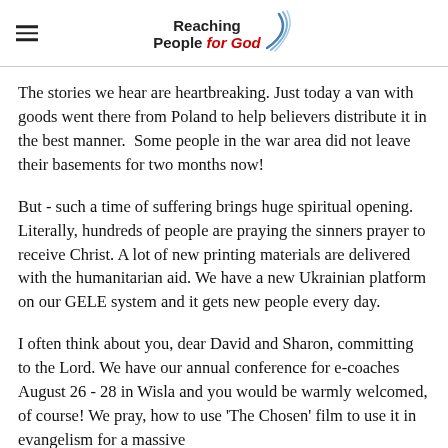Reaching People for God
The stories we hear are heartbreaking. Just today a van with goods went there from Poland to help believers distribute it in the best manner.  Some people in the war area did not leave their basements for two months now!
But - such a time of suffering brings huge spiritual opening. Literally, hundreds of people are praying the sinners prayer to receive Christ. A lot of new printing materials are delivered with the humanitarian aid. We have a new Ukrainian platform on our GELE system and it gets new people every day.
I often think about you, dear David and Sharon, committing to the Lord. We have our annual conference for e-coaches August 26 - 28 in Wisla and you would be warmly welcomed, of course! We pray, how to use 'The Chosen' film to use it in evangelism for a massive